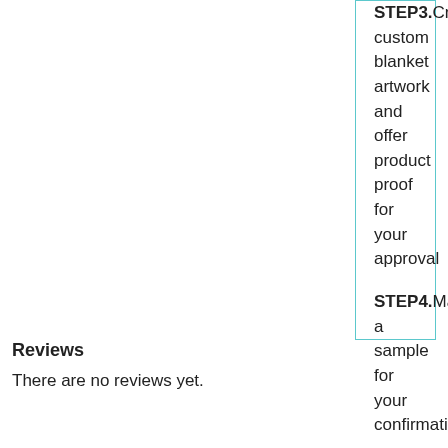STEP3.Create custom blanket artwork and offer product proof for your approval
STEP4.Make a sample for your confirmation.
STEP5.Bulk production starts once receiving your order confirmation.
Click https://galinkltd.com/order-steps-guidelines/
Reviews
There are no reviews yet.